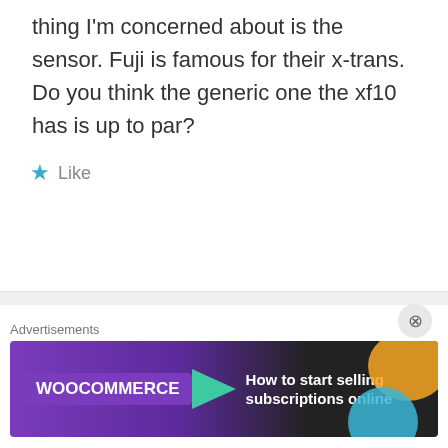thing I'm concerned about is the sensor. Fuji is famous for their x-trans. Do you think the generic one the xf10 has is up to par?
Like
Keithwee  4 years ago
Hi ! So far to me for most people it's
[Figure (other): Advertisement banner for WooCommerce: How to start selling subscriptions online]
Advertisements